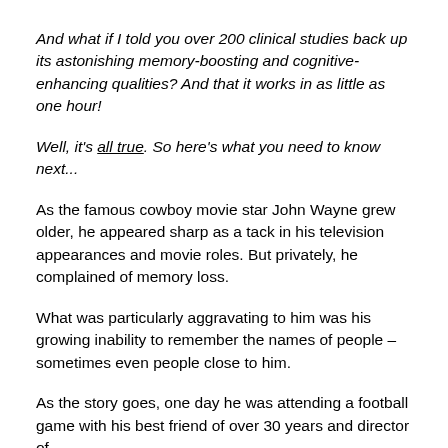And what if I told you over 200 clinical studies back up its astonishing memory-boosting and cognitive-enhancing qualities?  And that it works in as little as one hour!
Well, it's all true.  So here's what you need to know next...
As the famous cowboy movie star John Wayne grew older, he appeared sharp as a tack in his television appearances and movie roles. But privately, he complained of memory loss.
What was particularly aggravating to him was his growing inability to remember the names of people – sometimes even people close to him.
As the story goes, one day he was attending a football game with his best friend of over 30 years and director of